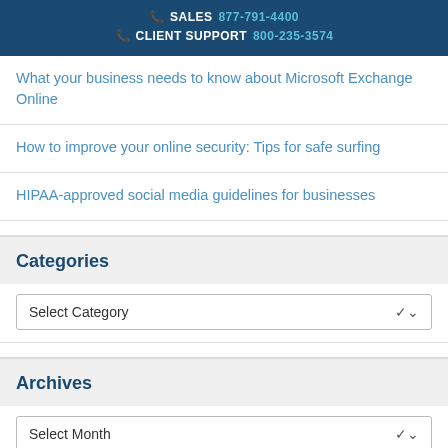SALES 877-791-4400 CLIENT SUPPORT 800-235-3574
What your business needs to know about Microsoft Exchange Online
How to improve your online security: Tips for safe surfing
HIPAA-approved social media guidelines for businesses
Categories
Select Category
Archives
Select Month